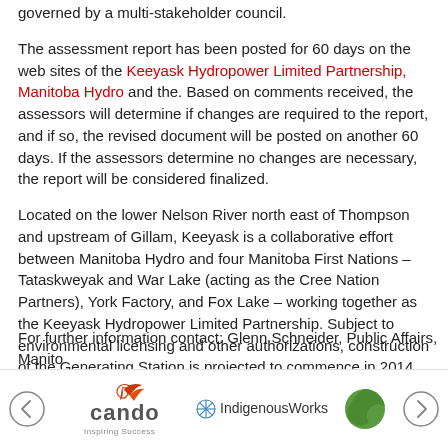governed by a multi-stakeholder council.
The assessment report has been posted for 60 days on the web sites of the Keeyask Hydropower Limited Partnership, Manitoba Hydro and the. Based on comments received, the assessors will determine if changes are required to the report, and if so, the revised document will be posted on another 60 days. If the assessors determine no changes are necessary, the report will be considered finalized.
Located on the lower Nelson River north east of Thompson and upstream of Gillam, Keeyask is a collaborative effort between Manitoba Hydro and four Manitoba First Nations – Tataskweyak and War Lake (acting as the Cree Nation Partners), York Factory, and Fox Lake – working together as the Keeyask Hydropower Limited Partnership. Subject to environmental licensing and other authorizations, construction of the Generating Station is projected to commence in 2014, with first power in 2019. Next week the Manitoba Clean Environment Commission will commence public hearings as part of the licensing process for the project. Keeyask is a component of Manitoba Hydro's development program that is subject to the upcoming Needs For Alternatives To review by the Manitoba Public Utilities Board.
For further information contact: Glenn Schneider, Public Affairs, Manitoba Hydro
[Figure (logo): Page footer with navigation arrows, Cando Inspiring Success logo, IndigenousWorks logo, and a green circular logo]